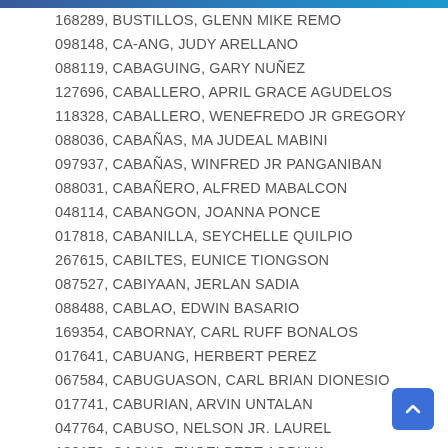168289, BUSTILLOS, GLENN MIKE REMO
098148, CA-ANG, JUDY ARELLANO
088119, CABAGUING, GARY NUÑEZ
127696, CABALLERO, APRIL GRACE AGUDELOS
118328, CABALLERO, WENEFREDO JR GREGORY
088036, CABAÑAS, MA JUDEAL MABINI
097937, CABAÑAS, WINFRED JR PANGANIBAN
088031, CABAÑERO, ALFRED MABALCON
048114, CABANGON, JOANNA PONCE
017818, CABANILLA, SEYCHELLE QUILPIO
267615, CABILTES, EUNICE TIONGSON
087527, CABIYAAN, JERLAN SADIA
088488, CABLAO, EDWIN BASARIO
169354, CABORNAY, CARL RUFF BONALOS
017641, CABUANG, HERBERT PEREZ
067584, CABUGUASON, CARL BRIAN DIONESIO
017741, CABURIAN, ARVIN UNTALAN
047764, CABUSO, NELSON JR. LAUREL
138170, CACHO, ENGELBERT AGBUYA